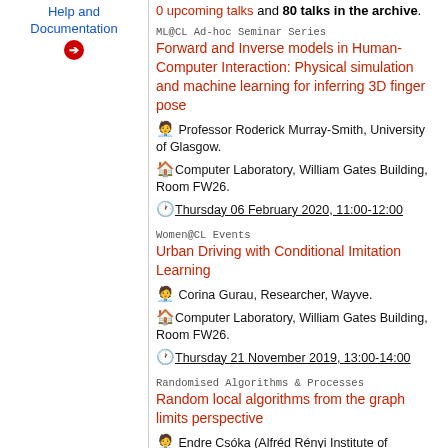Help and Documentation
0 upcoming talks and 80 talks in the archive.
ML@CL Ad-hoc Seminar Series
Forward and Inverse models in Human-Computer Interaction: Physical simulation and machine learning for inferring 3D finger pose
Professor Roderick Murray-Smith, University of Glasgow.
Computer Laboratory, William Gates Building, Room FW26.
Thursday 06 February 2020, 11:00-12:00
Women@CL Events
Urban Driving with Conditional Imitation Learning
Corina Gurau, Researcher, Wayve.
Computer Laboratory, William Gates Building, Room FW26.
Thursday 21 November 2019, 13:00-14:00
Randomised Algorithms & Processes
Random local algorithms from the graph limits perspective
Endre Csóka (Alfréd Rényi Institute of